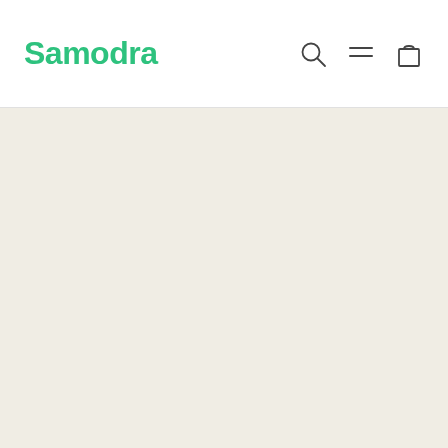Samodra
[Figure (other): Empty cream/off-white background area below the navigation header]